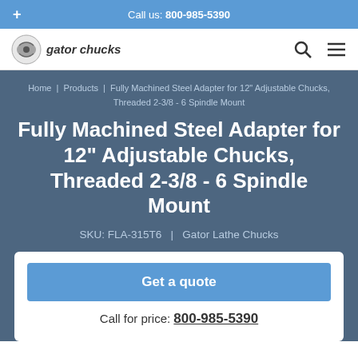Call us: 800-985-5390
[Figure (logo): Gator Chucks logo with gear/machine illustration and italic text 'gator chucks']
Home | Products | Fully Machined Steel Adapter for 12" Adjustable Chucks, Threaded 2-3/8 - 6 Spindle Mount
Fully Machined Steel Adapter for 12" Adjustable Chucks, Threaded 2-3/8 - 6 Spindle Mount
SKU: FLA-315T6  |  Gator Lathe Chucks
Get a quote
Call for price: 800-985-5390